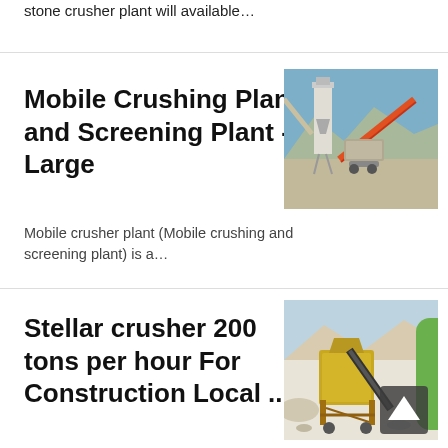stone crusher plant will available...
Mobile Crushing Plant and Screening Plant - Large
[Figure (photo): Large industrial mobile crushing and screening plant with conveyor belts against a blue sky backdrop with mountains.]
Mobile crusher plant (Mobile crushing and screening plant) is a...
Stellar crusher 200 tons per hour For Construction Local ...
[Figure (photo): Yellow-colored crusher machine with conveyor belts at a quarry site with white rocky terrain and mountains in background.]
Manufacturer 250*400 mobile jaw crusher, capacity 200 to...